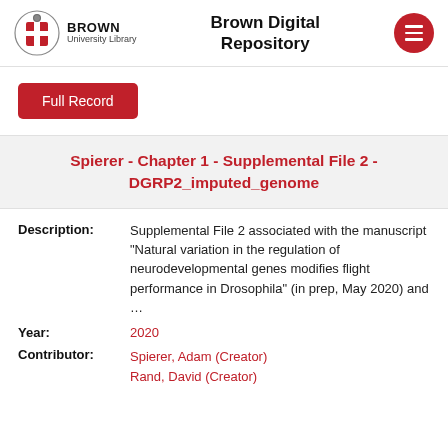Brown University Library — Brown Digital Repository
Full Record
Spierer - Chapter 1 - Supplemental File 2 - DGRP2_imputed_genome
Description: Supplemental File 2 associated with the manuscript "Natural variation in the regulation of neurodevelopmental genes modifies flight performance in Drosophila" (in prep, May 2020) and …
Year: 2020
Contributor: Spierer, Adam (Creator)
Rand, David (Creator)